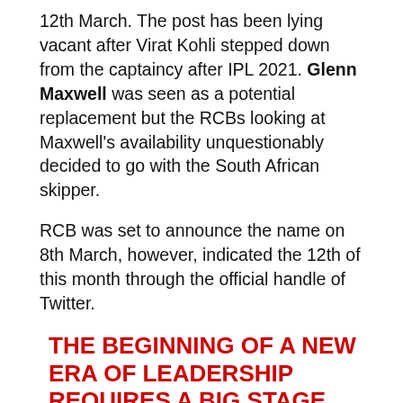12th March. The post has been lying vacant after Virat Kohli stepped down from the captaincy after IPL 2021. Glenn Maxwell was seen as a potential replacement but the RCBs looking at Maxwell's availability unquestionably decided to go with the South African skipper.
RCB was set to announce the name on 8th March, however, indicated the 12th of this month through the official handle of Twitter.
THE BEGINNING OF A NEW ERA OF LEADERSHIP REQUIRES A BIG STAGE.
SPOTTED IN BENGALURU.